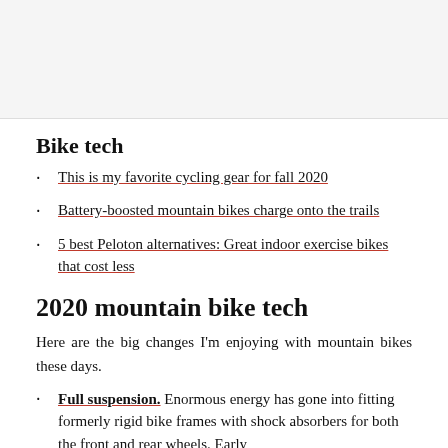[Figure (photo): Image placeholder / photo at top of page]
Bike tech
This is my favorite cycling gear for fall 2020
Battery-boosted mountain bikes charge onto the trails
5 best Peloton alternatives: Great indoor exercise bikes that cost less
2020 mountain bike tech
Here are the big changes I'm enjoying with mountain bikes these days.
Full suspension. Enormous energy has gone into fitting formerly rigid bike frames with shock absorbers for both the front and rear wheels. Early